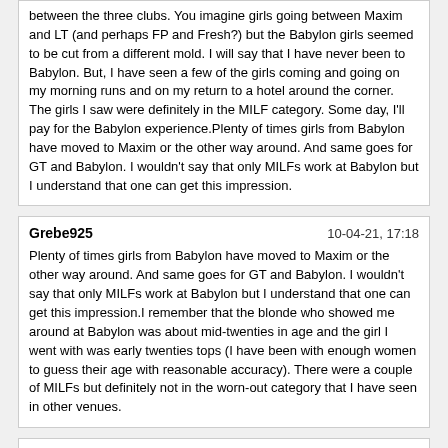(and perhaps FP and Fresh?) but the Babylon girls seemed to be cut from a different mold. I will say that I have never been to Babylon. But, I have seen a few of the girls coming and going on my morning runs and on my return to a hotel around the corner. The girls I saw were definitely in the MILF category. Some day, I'll pay for the Babylon experience.Plenty of times girls from Babylon have moved to Maxim or the other way around. And same goes for GT and Babylon. I wouldn't say that only MILFs work at Babylon but I understand that one can get this impression.
Grebe925 | 10-04-21, 17:18 | Plenty of times girls from Babylon have moved to Maxim or the other way around. And same goes for GT and Babylon. I wouldn't say that only MILFs work at Babylon but I understand that one can get this impression.I remember that the blonde who showed me around at Babylon was about mid-twenties in age and the girl I went with was early twenties tops (I have been with enough women to guess their age with reasonable accuracy). There were a couple of MILFs but definitely not in the worn-out category that I have seen in other venues.
PussyProwler | 11-01-21, 03:54 | Hello, I've been to sharks recently and although it's obviously not back to pre pandemic levels of talent it's still seemingly the best overall FKK in the world considering the amount of women there and most of the other patrons I've spoken to agree they have the largest selection of women to choose from at the moment in terms of comparing FKK's. I've heard great things about Goldentime and was pondering a trip to Vienna to check it out but there doesn't seem to be any recent intel on here and the most recent reports form late August say there's only 20-30 women max and a pale comparison to how it used to be. Just wondering if anyone could report on any recent visits to GT? I appreciate Romanians at sharks and realize most FKK's are 80% if not more Romanian women but I was hoping his Goldentime FKK would have more